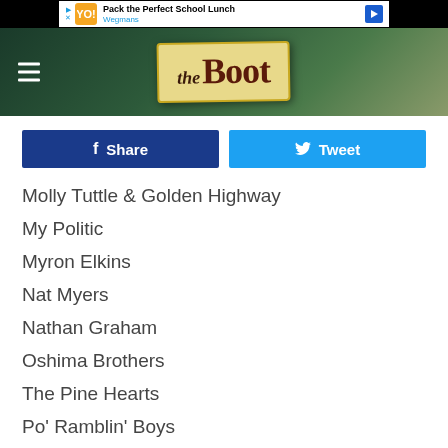[Figure (screenshot): Advertisement banner for Wegmans - Pack the Perfect School Lunch]
[Figure (logo): The Boot website logo on decorative background with hamburger menu icon]
[Figure (infographic): Facebook Share button and Twitter Tweet button row]
Molly Tuttle & Golden Highway
My Politic
Myron Elkins
Nat Myers
Nathan Graham
Oshima Brothers
The Pine Hearts
Po' Ramblin' Boys
Rachel Brooke
Rainbow Girls